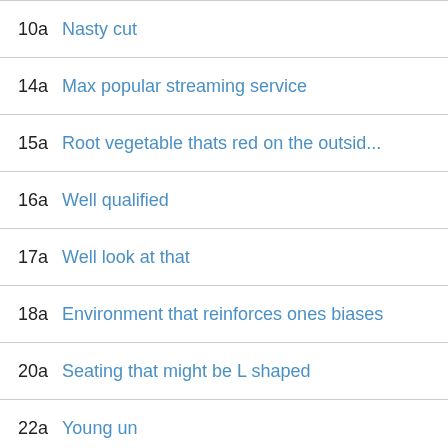10a Nasty cut
14a Max popular streaming service
15a Root vegetable thats red on the outsid...
16a Well qualified
17a Well look at that
18a Environment that reinforces ones biases
20a Seating that might be L shaped
22a Young un
23a Does some gardening work
24a Major thoroughfare